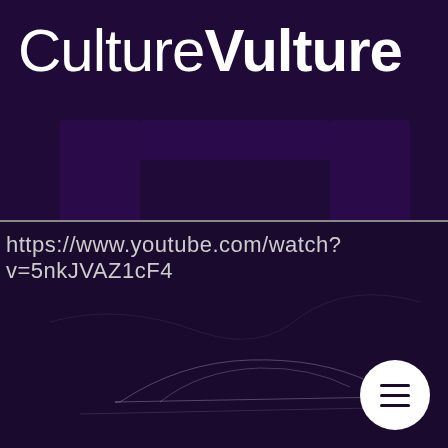CultureVulture
https://www.youtube.com/watch?v=5nkJVAZ1cF4
[Figure (screenshot): Dark purple background with faint vulture/bird silhouette outline and a circular hamburger menu button in the bottom right corner.]